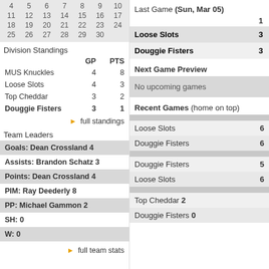| 4 | 5 | 6 | 7 | 8 | 9 | 10 |
| 11 | 12 | 13 | 14 | 15 | 16 | 17 |
| 18 | 19 | 20 | 21 | 22 | 23 | 24 |
| 25 | 26 | 27 | 28 | 29 | 30 |  |
Division Standings
|  | GP | PTS |
| --- | --- | --- |
| MUS Knuckles | 4 | 8 |
| Loose Slots | 4 | 3 |
| Top Cheddar | 3 | 2 |
| Douggie Fisters | 3 | 1 |
▶ full standings
Team Leaders
Goals: Dean Crossland 4
Assists: Brandon Schatz 3
Points: Dean Crossland 4
PIM: Ray Deederly 8
PP: Michael Gammon 2
SH: 0
W: 0
▶ full team stats
Last Game (Sun, Mar 05)
|  | 1 |
| --- | --- |
| Loose Slots | 3 |
| Douggie Fisters | 3 |
Next Game Preview
No upcoming games
Recent Games (home on top)
Loose Slots 6
Douggie Fisters 6
Douggie Fisters 5
Loose Slots 6
Top Cheddar 2
Douggie Fisters 0